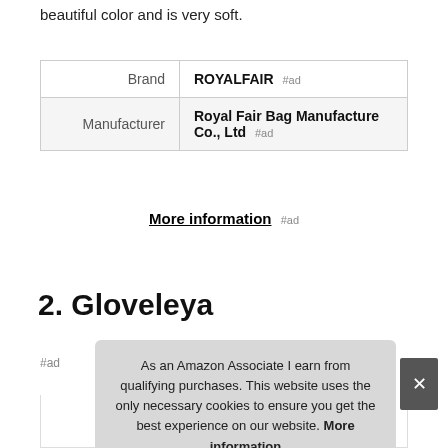beautiful color and is very soft.
|  |  |
| --- | --- |
| Brand | ROYALFAIR #ad |
| Manufacturer | Royal Fair Bag Manufacture Co., Ltd #ad |
More information #ad
2. Gloveleya
#ad
As an Amazon Associate I earn from qualifying purchases. This website uses the only necessary cookies to ensure you get the best experience on our website. More information